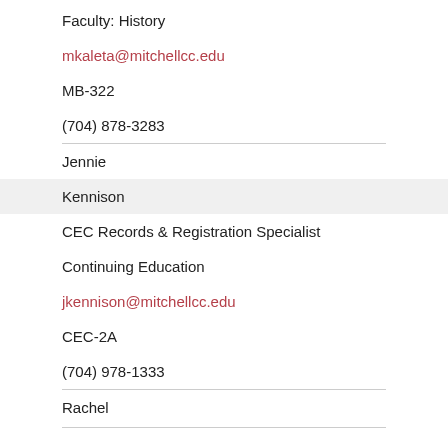Faculty: History
mkaleta@mitchellcc.edu
MB-322
(704) 878-3283
Jennie
Kennison
CEC Records & Registration Specialist
Continuing Education
jkennison@mitchellcc.edu
CEC-2A
(704) 978-1333
Rachel